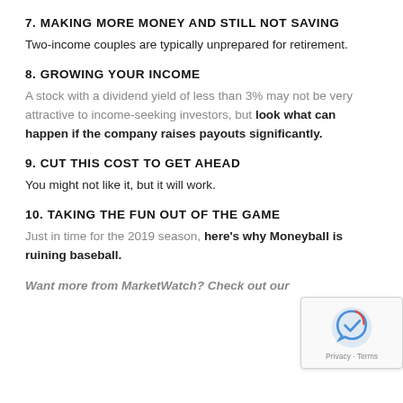7. MAKING MORE MONEY AND STILL NOT SAVING
Two-income couples are typically unprepared for retirement.
8. GROWING YOUR INCOME
A stock with a dividend yield of less than 3% may not be very attractive to income-seeking investors, but look what can happen if the company raises payouts significantly.
9. CUT THIS COST TO GET AHEAD
You might not like it, but it will work.
10. TAKING THE FUN OUT OF THE GAME
Just in time for the 2019 season, here's why Moneyball is ruining baseball.
Want more from MarketWatch? Check out our